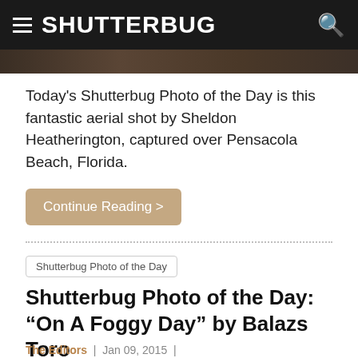SHUTTERBUG
[Figure (photo): Dark image strip at top of article, partially visible]
Today's Shutterbug Photo of the Day is this fantastic aerial shot by Sheldon Heatherington, captured over Pensacola Beach, Florida.
Continue Reading >
Shutterbug Photo of the Day
Shutterbug Photo of the Day: “On A Foggy Day” by Balazs Toro
The Editors | Jan 09, 2015 |